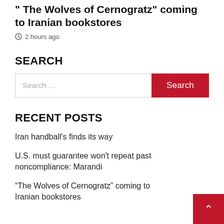"The Wolves of Cernogratz" coming to Iranian bookstores
2 hours ago
SEARCH
Search ...
RECENT POSTS
Iran handball's finds its way
U.S. must guarantee won't repeat past noncompliance: Marandi
“The Wolves of Cernogratz” coming to Iranian bookstores